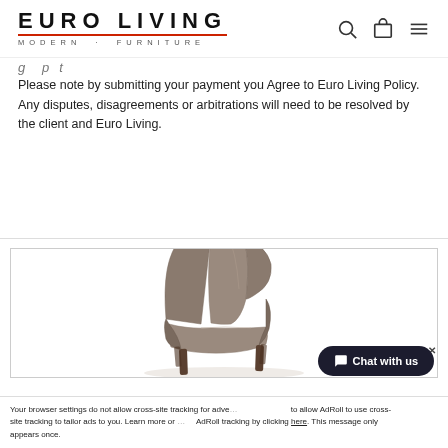EURO LIVING · MODERN · FURNITURE
Please note by submitting your payment you Agree to Euro Living Policy. Any disputes, disagreements or arbitrations will need to be resolved by the client and Euro Living.
[Figure (photo): A modern taupe/brown leather armchair with wooden legs, shown from a slightly elevated angle against a white background.]
Chat with us
Your browser settings do not allow cross-site tracking for advertising. Visit your browser settings to allow AdRoll to use cross-site tracking to tailor ads to you. Learn more or opt out of this AdRoll tracking by clicking here. This message only appears once.